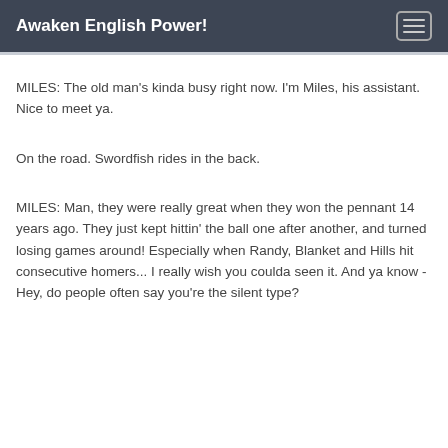Awaken English Power!
MILES: The old man's kinda busy right now. I'm Miles, his assistant. Nice to meet ya.
On the road. Swordfish rides in the back.
MILES: Man, they were really great when they won the pennant 14 years ago. They just kept hittin' the ball one after another, and turned losing games around! Especially when Randy, Blanket and Hills hit consecutive homers... I really wish you coulda seen it. And ya know -  Hey, do people often say you're the silent type?